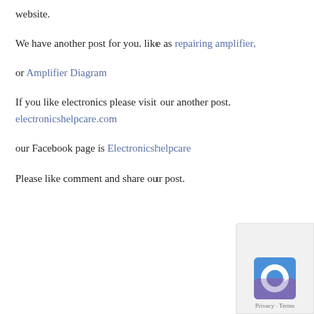website.
We have another post for you. like as repairing amplifier,
or Amplifier Diagram
If you like electronics please visit our another post. electronicshelpcare.com
our Facebook page is Electronicshelpcare
Please like comment and share our post.